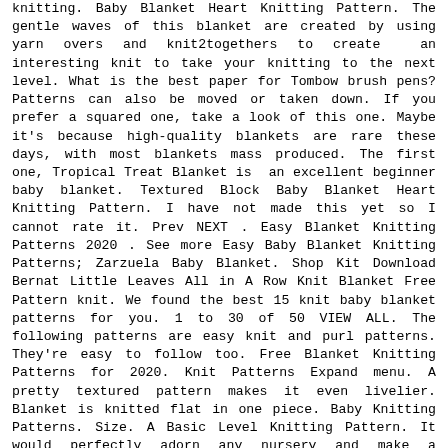knitting. Baby Blanket Heart Knitting Pattern. The gentle waves of this blanket are created by using yarn overs and knit2togethers to create an interesting knit to take your knitting to the next level. What is the best paper for Tombow brush pens? Patterns can also be moved or taken down. If you prefer a squared one, take a look of this one. Maybe it's because high-quality blankets are rare these days, with most blankets mass produced. The first one, Tropical Treat Blanket is an excellent beginner baby blanket. Textured Block Baby Blanket Heart Knitting Pattern. I have not made this yet so I cannot rate it. Prev NEXT . Easy Blanket Knitting Patterns 2020 . See more Easy Baby Blanket Knitting Patterns; Zarzuela Baby Blanket. Shop Kit Download Bernat Little Leaves All in A Row Knit Blanket Free Pattern knit. We found the best 15 knit baby blanket patterns for you. 1 to 30 of 50 VIEW ALL. The following patterns are easy knit and purl patterns. They're easy to follow too. Free Blanket Knitting Patterns for 2020. Knit Patterns Expand menu. A pretty textured pattern makes it even livelier. Blanket is knitted flat in one piece. Baby Knitting Patterns. Size. A Basic Level Knitting Pattern. It would perfectly adorn any nursery and make a wonderful baby shower gift for a newborn. Grab a Baby blanket knitting patterns for beginners and start making a cozy one. Worsted weight yarn. Whether you have a new bundle on the way or know someone who does, these patterns are the perfect projects. With our baby blanket knitting patterns you can choose from a variety of designs and make something special to